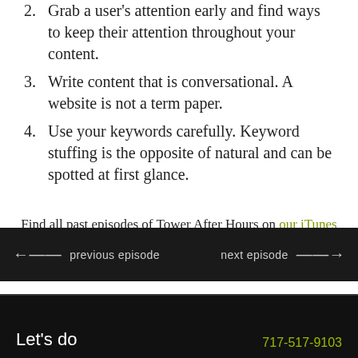2. Grab a user's attention early and find ways to keep their attention throughout your content.
3. Write content that is conversational. A website is not a term paper.
4. Use your keywords carefully. Keyword stuffing is the opposite of natural and can be spotted at first glance.
Find all past episodes of Tower After Hours on our iTunes feed!
previous episode   next episode
Let's do   717-517-9103